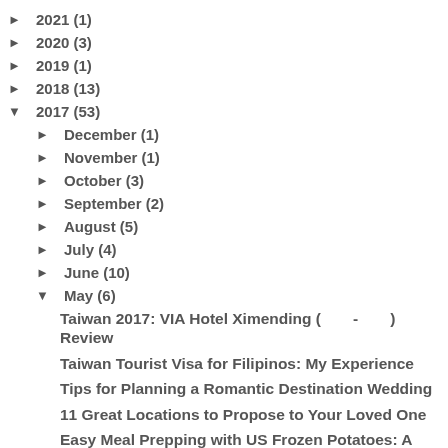► 2021 (1)
► 2020 (3)
► 2019 (1)
► 2018 (13)
▼ 2017 (53)
► December (1)
► November (1)
► October (3)
► September (2)
► August (5)
► July (4)
► June (10)
▼ May (6)
Taiwan 2017: VIA Hotel Ximending (　　-　　) Review
Taiwan Tourist Visa for Filipinos: My Experience
Tips for Planning a Romantic Destination Wedding
11 Great Locations to Propose to Your Loved One
Easy Meal Prepping with US Frozen Potatoes: A Newb...
3 Ways to Get Fit That Allow You to Wear Great Clo...